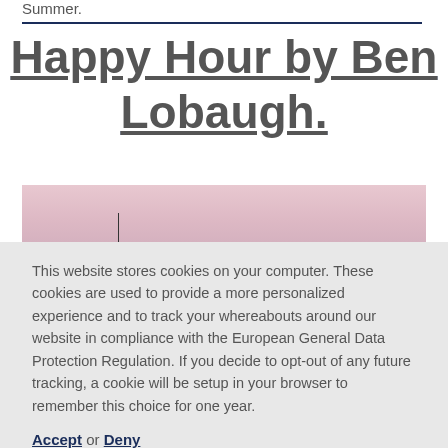Summer.
Happy Hour by Ben Lobaugh.
[Figure (photo): A pink/mauve sky photo with a thin vertical mast line visible, cropped at the bottom of the upper section]
This website stores cookies on your computer. These cookies are used to provide a more personalized experience and to track your whereabouts around our website in compliance with the European General Data Protection Regulation. If you decide to opt-out of any future tracking, a cookie will be setup in your browser to remember this choice for one year.
Accept or Deny